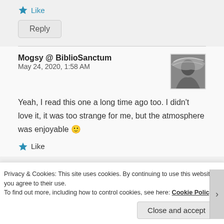Like
Reply
Mogsy @ BiblioSanctum
May 24, 2020, 1:58 AM
Yeah, I read this one a long time ago too. I didn't love it, it was too strange for me, but the atmosphere was enjoyable 🙂
Like
Privacy & Cookies: This site uses cookies. By continuing to use this website, you agree to their use.
To find out more, including how to control cookies, see here: Cookie Policy
Close and accept